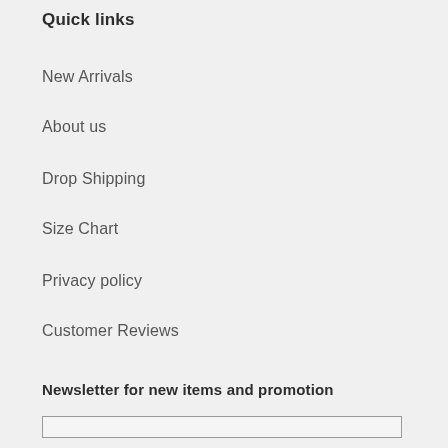Quick links
New Arrivals
About us
Drop Shipping
Size Chart
Privacy policy
Customer Reviews
Newsletter for new items and promotion